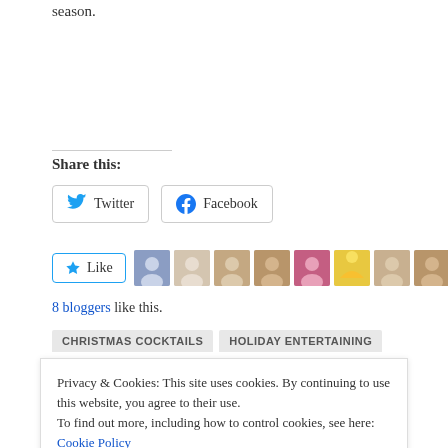season.
Share this:
[Figure (other): Twitter and Facebook share buttons]
[Figure (other): Like button with 8 blogger avatars]
8 bloggers like this.
CHRISTMAS COCKTAILS   HOLIDAY ENTERTAINING
Privacy & Cookies: This site uses cookies. By continuing to use this website, you agree to their use. To find out more, including how to control cookies, see here: Cookie Policy
Close and accept
PREVIOUS